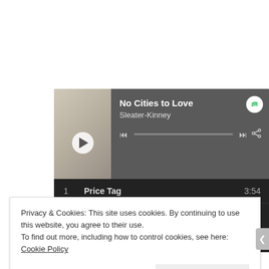[Figure (screenshot): Spotify web player widget showing album 'No Cities to Love' by Sleater-Kinney with album art, play button, progress bar, and Spotify logo]
| # | Track | Duration |
| --- | --- | --- |
| 1 | Price Tag | 3:54 |
| 2 | Fangless | 3:34 |
| 3 | Surface Envy | 3:06 |
Privacy & Cookies: This site uses cookies. By continuing to use this website, you agree to their use.
To find out more, including how to control cookies, see here: Cookie Policy
Close and accept